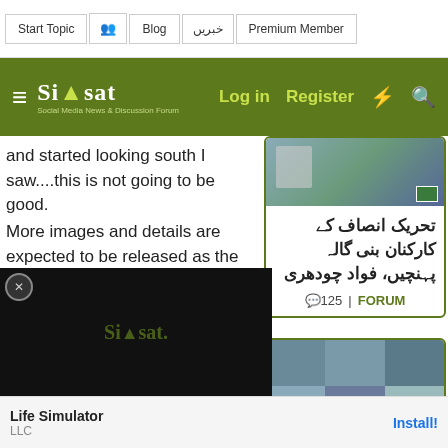Start Topic | [icon] | Blog | خبریں | Premium Member
Siasat.pk — Log in | Register
and started looking south I saw....this is not going to be good.
More images and details are expected to be released as the 20th anniversary approaches.
US President Joe Biden has announced an executive order to oversee a "declassification review" of documents related to the FBI's September 11th
[Figure (screenshot): Sidebar card 1: Urdu article about تحریک انصاف کے کارکنان بنی گالہ پہنچیں، فواد چودھری with comment count 125 and FORUM label]
[Figure (screenshot): Sidebar card 2: Urdu article with grid of photos, partial title visible کیا ہسپتال سے]
[Figure (screenshot): Video overlay with Siasat logo on dark background]
Life Simulator
[company] LLC
Install!